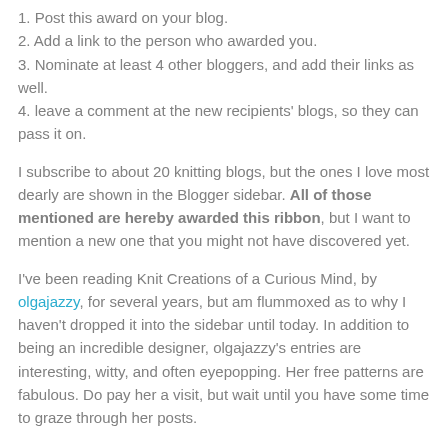1. Post this award on your blog.
2. Add a link to the person who awarded you.
3. Nominate at least 4 other bloggers, and add their links as well.
4. leave a comment at the new recipients' blogs, so they can pass it on.
I subscribe to about 20 knitting blogs, but the ones I love most dearly are shown in the Blogger sidebar. All of those mentioned are hereby awarded this ribbon, but I want to mention a new one that you might not have discovered yet.
I've been reading Knit Creations of a Curious Mind, by olgajazzy, for several years, but am flummoxed as to why I haven't dropped it into the sidebar until today. In addition to being an incredible designer, olgajazzy's entries are interesting, witty, and often eyepopping. Her free patterns are fabulous. Do pay her a visit, but wait until you have some time to graze through her posts.